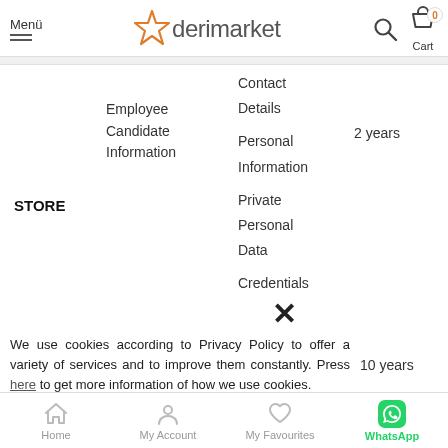Menü | derimarket | Cart 0
|  | Category | Data | Duration |
| --- | --- | --- | --- |
| STORE | Employee Candidate Information | Contact Details
Personal Information
Private Personal Data
Credentials | 2 years |
|  |  | × |  |
|  |  |  | 10 years |
|  |  | Personal |  |
We use cookies according to Privacy Policy to offer a variety of services and to improve them constantly. Press here to get more information of how we use cookies.
Home | My Account | My Favourites | WhatsApp